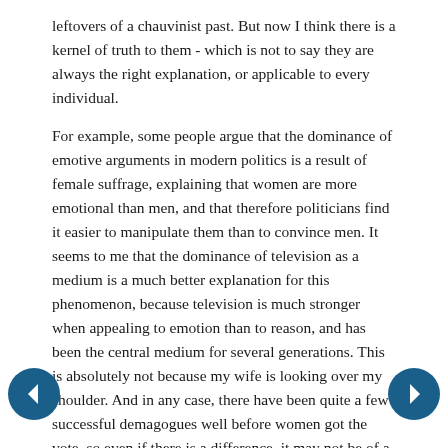leftovers of a chauvinist past. But now I think there is a kernel of truth to them - which is not to say they are always the right explanation, or applicable to every individual.
For example, some people argue that the dominance of emotive arguments in modern politics is a result of female suffrage, explaining that women are more emotional than men, and that therefore politicians find it easier to manipulate them than to convince men. It seems to me that the dominance of television as a medium is a much better explanation for this phenomenon, because television is much stronger when appealing to emotion than to reason, and has been the central medium for several generations. This is absolutely not because my wife is looking over my shoulder. And in any case, there have been quite a few successful demagogues well before women got the vote, so even if there is a difference, it may not be of a degree sufficient to transform the public sphere.
Posted by: Zionist Overlord #73 | May 27, 2019 at 20:07